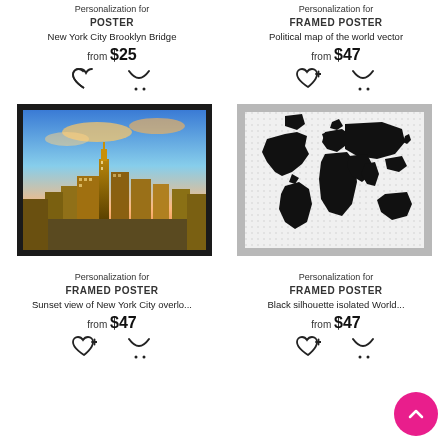Personalization for
POSTER
New York City Brooklyn Bridge
from $25
Personalization for
FRAMED POSTER
Political map of the world vector
from $47
[Figure (photo): Aerial/overhead photo of New York City skyline with skyscrapers under an orange-tinted sunset sky, displayed in a black frame.]
[Figure (illustration): Black silhouette world map on white/grey dotted background, displayed in a white frame.]
Personalization for
FRAMED POSTER
Sunset view of New York City overlo...
from $47
Personalization for
FRAMED POSTER
Black silhouette isolated World...
from $47